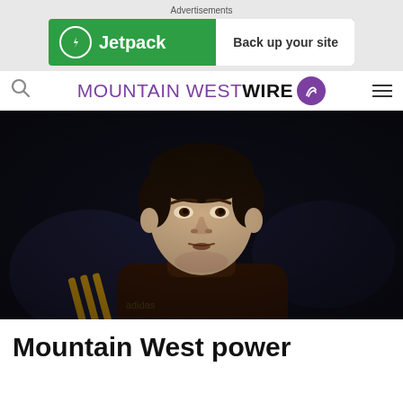[Figure (other): Advertisement banner: Jetpack - Back up your site, green background]
MOUNTAIN WEST WIRE
[Figure (photo): Photo of a man in a brown and gold jacket looking upward, appears to be a basketball coach on the sideline]
Mountain West power